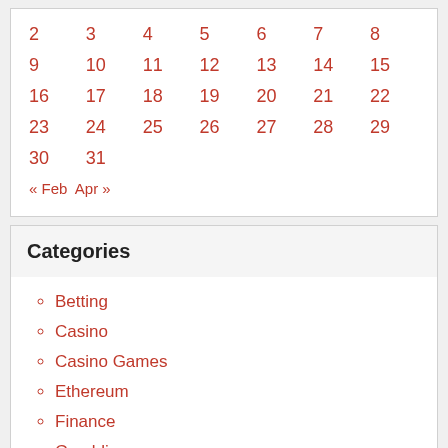| 2 | 3 | 4 | 5 | 6 | 7 | 8 |
| 9 | 10 | 11 | 12 | 13 | 14 | 15 |
| 16 | 17 | 18 | 19 | 20 | 21 | 22 |
| 23 | 24 | 25 | 26 | 27 | 28 | 29 |
| 30 | 31 |  |  |  |  |  |
| « Feb | Apr » |  |  |  |  |  |
Categories
Betting
Casino
Casino Games
Ethereum
Finance
Gambling
Lottery
Poker